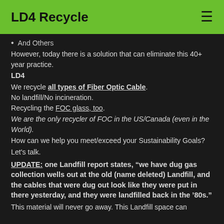LD4 Recycle
And Others
However, today there is a solution that can eliminate this 40+ year practice.
LD4
We recycle all types of Fiber Optic Cable. No landfill/No incineration. Recycling the FOC glass, too.
We are the only recycler of FOC in the US/Canada (even in the World).
How can we help you meet/exceed your Sustainability Goals?
Let's talk.
UPDATE: one Landfill report states, “we have dug gas collection wells out at the old (name deleted) Landfill, and the cables that were dug out look like they were put in there yesterday, and they were landfilled back in the ‘80s.”
This material will never go away. This Landfill space can